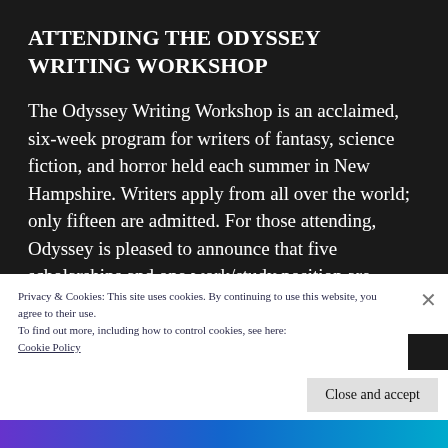ATTENDING THE ODYSSEY WRITING WORKSHOP
The Odyssey Writing Workshop is an acclaimed, six-week program for writers of fantasy, science fiction, and horror held each summer in New Hampshire. Writers apply from all over the world; only fifteen are admitted. For those attending, Odyssey is pleased to announce that five scholarships and one work/study position are available.
Privacy & Cookies: This site uses cookies. By continuing to use this website, you agree to their use.
To find out more, including how to control cookies, see here:
Cookie Policy
Close and accept